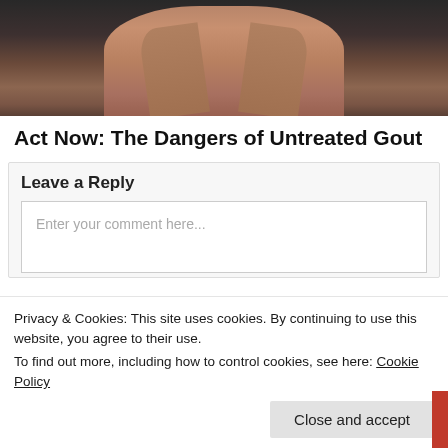[Figure (photo): Photo showing the bare back of a muscular person, dark background, related to gout/back pain article.]
Act Now: The Dangers of Untreated Gout
Leave a Reply
Enter your comment here...
Privacy & Cookies: This site uses cookies. By continuing to use this website, you agree to their use.
To find out more, including how to control cookies, see here: Cookie Policy
Close and accept